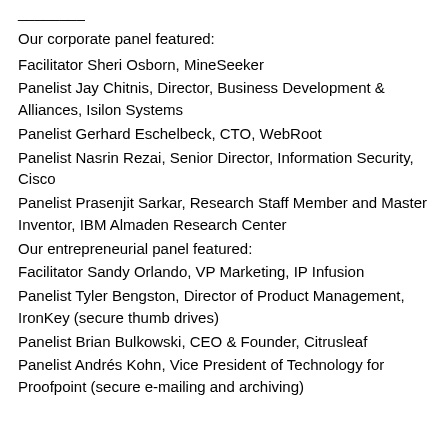________
Our corporate panel featured:
Facilitator Sheri Osborn, MineSeeker
Panelist Jay Chitnis, Director, Business Development & Alliances, Isilon Systems
Panelist Gerhard Eschelbeck, CTO, WebRoot
Panelist Nasrin Rezai, Senior Director, Information Security, Cisco
Panelist Prasenjit Sarkar, Research Staff Member and Master Inventor, IBM Almaden Research Center
Our entrepreneurial panel featured:
Facilitator Sandy Orlando, VP Marketing, IP Infusion
Panelist Tyler Bengston, Director of Product Management, IronKey (secure thumb drives)
Panelist Brian Bulkowski, CEO & Founder, Citrusleaf
Panelist Andrés Kohn, Vice President of Technology for Proofpoint (secure e-mailing and archiving)